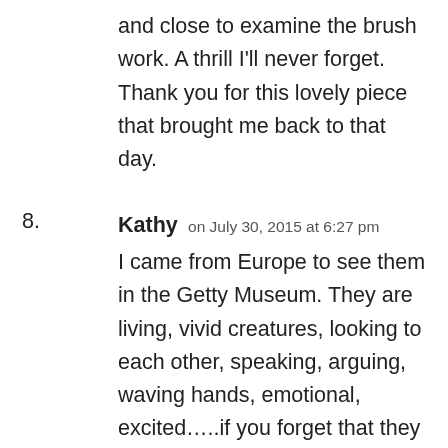and close to examine the brush work. A thrill I'll never forget. Thank you for this lovely piece that brought me back to that day.
8. Kathy on July 30, 2015 at 6:27 pm
I came from Europe to see them in the Getty Museum. They are living, vivid creatures, looking to each other, speaking, arguing, waving hands, emotional, excited…..if you forget that they are flowers, you see people.
9. Tatiana on August 1, 2015 at 3:51 am
I find them capricious and relaxed,
They quicken my imagination.